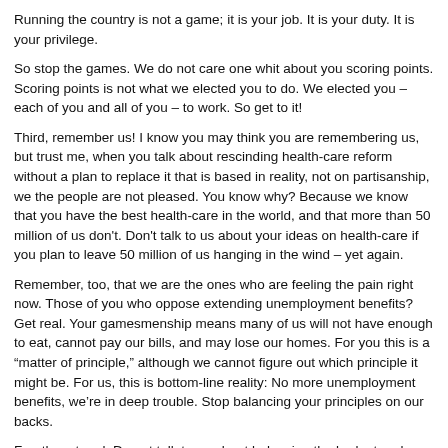Running the country is not a game; it is your job. It is your duty. It is your privilege.
So stop the games. We do not care one whit about you scoring points. Scoring points is not what we elected you to do. We elected you – each of you and all of you – to work. So get to it!
Third, remember us! I know you may think you are remembering us, but trust me, when you talk about rescinding health-care reform without a plan to replace it that is based in reality, not on partisanship, we the people are not pleased. You know why? Because we know that you have the best health-care in the world, and that more than 50 million of us don't. Don't talk to us about your ideas on health-care if you plan to leave 50 million of us hanging in the wind – yet again.
Remember, too, that we are the ones who are feeling the pain right now. Those of you who oppose extending unemployment benefits? Get real. Your gamesmenship means many of us will not have enough to eat, cannot pay our bills, and may lose our homes. For you this is a "matter of principle," although we cannot figure out which principle it might be. For us, this is bottom-line reality: No more unemployment benefits, we're in deep trouble. Stop balancing your principles on our backs.
Fourth, get real. Do not talk to us about balancing the budget and getting rid of wasteful spending and then demand that we extend the Bush tax breaks to the richest people – at an estimated cost of $700 billion over the next 10 years!